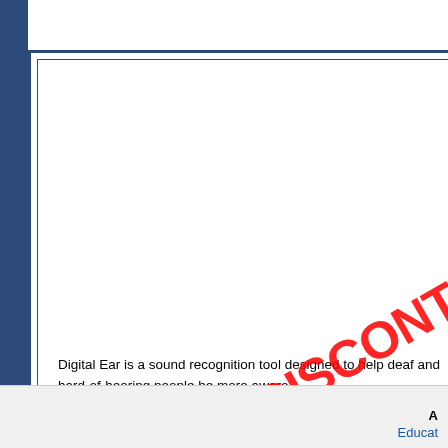Digital Ear is a sound recognition tool designed to help deaf and hard-of-hearing people be more aware of their surroundings. The software listens to sounds in your environment and alerts you by flashing and/or vibrating (your choice) when...
[Figure (other): Red diagonal DISCONTINUED watermark stamp overlaid on the content area]
-Back
Educat...